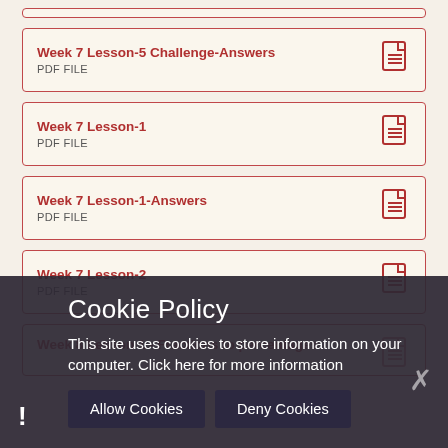Week 7 Lesson-5 Challenge-Answers
PDF FILE
Week 7 Lesson-1
PDF FILE
Week 7 Lesson-1-Answers
PDF FILE
Week 7 Lesson-2
PDF FILE
Week 8 Lesson 1 - Fractions to percentages
Cookie Policy
This site uses cookies to store information on your computer. Click here for more information
Allow Cookies | Deny Cookies